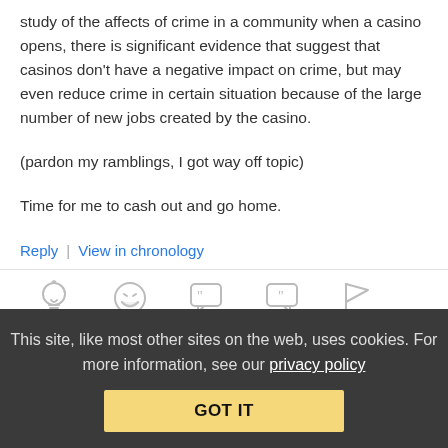study of the affects of crime in a community when a casino opens, there is significant evidence that suggest that casinos don't have a negative impact on crime, but may even reduce crime in certain situation because of the large number of new jobs created by the casino.
(pardon my ramblings, I got way off topic)
Time for me to cash out and go home.
Reply | View in chronology
[Figure (infographic): Row of 5 reaction/action icons: lightbulb, laughing face, left quote bubble, right quote bubble, flag]
Anonymous Coward   October 2, 2006 at 1:58 pm
This site, like most other sites on the web, uses cookies. For more information, see our privacy policy
GOT IT